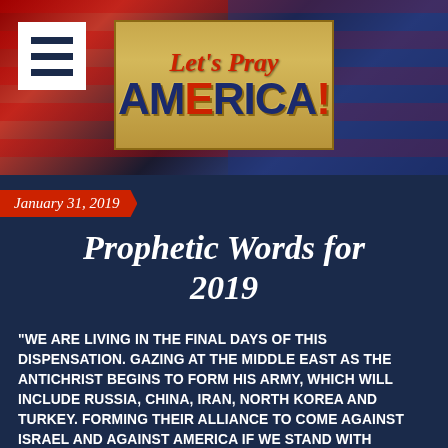[Figure (logo): Let's Pray America! logo on a tan/gold billboard-style box, overlaid on an American flag background with red stripes and blue starfield]
January 31, 2019
Prophetic Words for 2019
“WE ARE LIVING IN THE FINAL DAYS OF THIS DISPENSATION. GAZING AT THE MIDDLE EAST AS THE ANTICHRIST BEGINS TO FORM HIS ARMY, WHICH WILL INCLUDE RUSSIA, CHINA, IRAN, NORTH KOREA AND TURKEY. FORMING THEIR ALLIANCE TO COME AGAINST ISRAEL AND AGAINST AMERICA IF WE STAND WITH ISRAEL.”  “I SEE THOSE AMONG THE DEMOCRATIC PARTY FORMING AN ALLIANCE WITH THOSE COUNTRIES IN THE NORTH.”  “WE ARE NOW ENTERING INTO THE BIGGEST